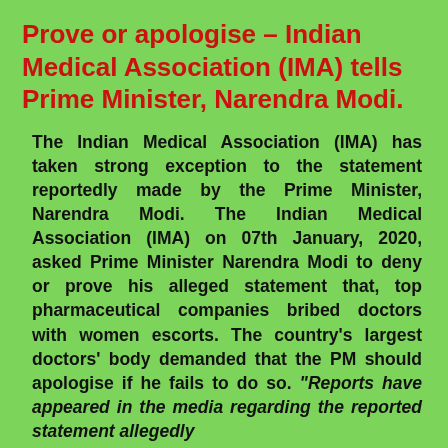Prove or apologise – Indian Medical Association (IMA) tells Prime Minister, Narendra Modi.
The Indian Medical Association (IMA) has taken strong exception to the statement reportedly made by the Prime Minister, Narendra Modi. The Indian Medical Association (IMA) on 07th January, 2020, asked Prime Minister Narendra Modi to deny or prove his alleged statement that, top pharmaceutical companies bribed doctors with women escorts. The country's largest doctors' body demanded that the PM should apologise if he fails to do so. "Reports have appeared in the media regarding the reported statement allegedly...